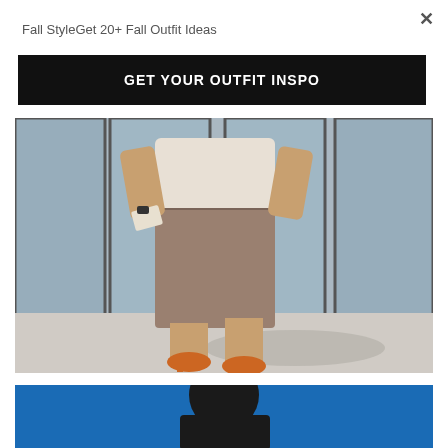×
Fall StyleGet 20+ Fall Outfit Ideas
GET YOUR OUTFIT INSPO
[Figure (photo): Woman wearing a white shirt tucked into a brown suede pencil skirt with orange heels, standing in front of glass doors outdoors]
[Figure (photo): Partial view of a person in dark clothing against a blue background, cropped at bottom of page]